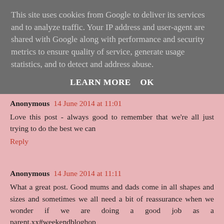This site uses cookies from Google to deliver its services and to analyze traffic. Your IP address and user-agent are shared with Google along with performance and security metrics to ensure quality of service, generate usage statistics, and to detect and address abuse.
LEARN MORE    OK
Anonymous 14 June 2014 at 11:01
Love this post - always good to remember that we're all just trying to do the best we can
Reply
Anonymous 14 June 2014 at 11:11
What a great post. Good mums and dads come in all shapes and sizes and sometimes we all need a bit of reassurance when we wonder if we are doing a good job as a parent.xx#weekendbloghop
Reply